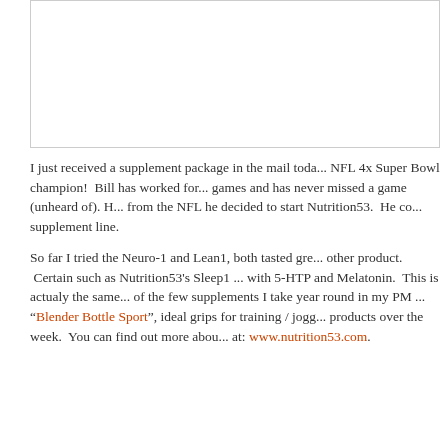[Figure (photo): Image placeholder box (white rectangle with border) showing a product or supplement package photo, cropped at right edge.]
I just received a supplement package in the mail toda... NFL 4x Super Bowl champion! Bill has worked for... games and has never missed a game (unheard of). H... from the NFL he decided to start Nutrition53. He co... supplement line.

So far I tried the Neuro-1 and Lean1, both tasted gre... other product. Certain such as Nutrition53's Sleep1 ... with 5-HTP and Melatonin. This is actualy the same... of the few supplements I take year round in my PM ... "Blender Bottle Sport", ideal grips for training / jogg... products over the week. You can find out more abou... at: www.nutrition53.com.